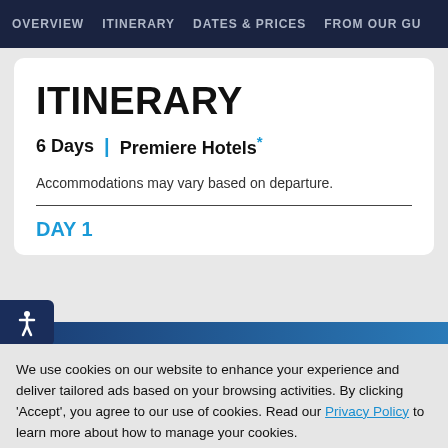OVERVIEW  ITINERARY  DATES & PRICES  FROM OUR GU
ITINERARY
6 Days | Premiere Hotels*
Accommodations may vary based on departure.
DAY 1
We use cookies on our website to enhance your experience and deliver tailored ads based on your browsing activities. By clicking 'Accept', you agree to our use of cookies. Read our Privacy Policy to learn more about how to manage your cookies.
ACCEPT
REJECT